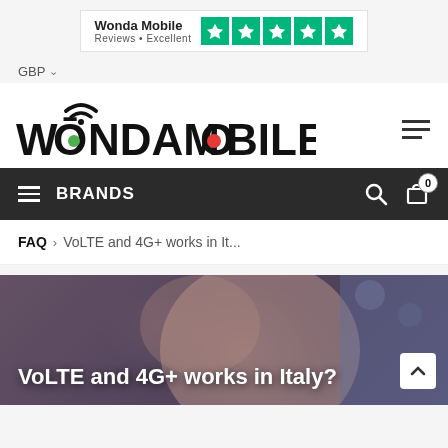[Figure (logo): Wonda Mobile Trustpilot widget showing 'Wonda Mobile Reviews • Excellent' with 5 green stars]
GBP ∨
[Figure (logo): WondaMobile logo with WiFi signal arc and colored dots]
≡ BRANDS
FAQ › VoLTE and 4G+ works in It...
[Figure (photo): Hero image of a person with text overlay: VoLTE and 4G+ works in Italy?]